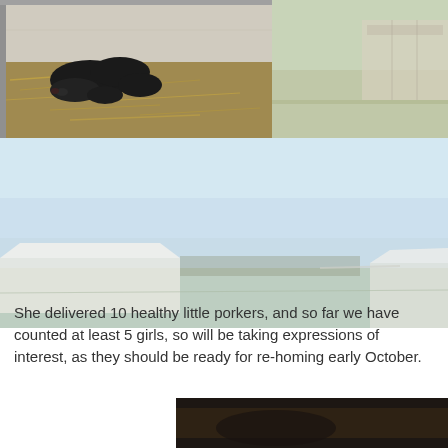[Figure (photo): Photo of newborn black piglets lying on straw bedding inside a metal farrowing crate or box]
[Figure (photo): Photo of an outdoor area with a light-colored building or structure, pale green/beige ground]
[Figure (photo): Wide outdoor photo showing a pale blue sky and a white-roofed building or shed, with fenced fields]
She delivered 10 healthy little porkers, and so far we have counted at least 5 girls, so will be taking expressions of interest, as they should be ready for re-homing early October.
[Figure (photo): Partial photo at the bottom of the page showing dark tones, likely the sow or piglets in a darker enclosure]